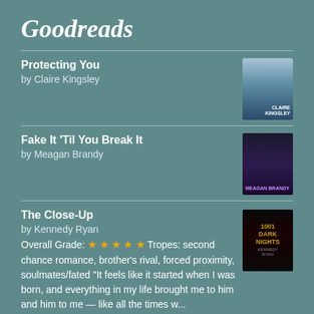Goodreads
Protecting You
by Claire Kingsley
Fake It 'Til You Break It
by Meagan Brandy
The Close-Up
by Kennedy Ryan
Overall Grade: ★★★★★ Tropes: second chance romance, brother's rival, forced proximity, soulmates/fated "It feels like it started when I was born, and everything in my life brought me to him and him to me — like all the times w...
The Emma Project